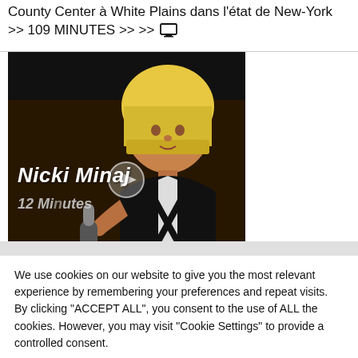County Center à White Plains dans l'état de New-York >> 109 MINUTES >> >> [monitor icon]
[Figure (photo): Photo of Nicki Minaj performing on stage, blonde bob wig, holding microphone, wearing black and white outfit. Overlay text: 'Nicki Minaj' and '12 Minutes']
We use cookies on our website to give you the most relevant experience by remembering your preferences and repeat visits. By clicking "ACCEPT ALL", you consent to the use of ALL the cookies. However, you may visit "Cookie Settings" to provide a controlled consent.
Cookie Settings   REJECT ALL   ACCEPT ALL